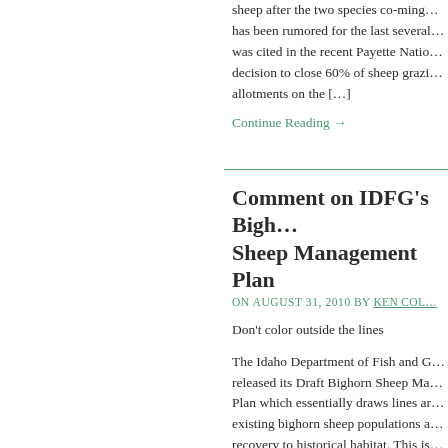sheep after the two species co-ming... has been rumored for the last several... was cited in the recent Payette Natio... decision to close 60% of sheep grazi... allotments on the […]
Continue Reading →
Comment on IDFG's Bighorn Sheep Management Plan
on AUGUST 31, 2010 by KEN COL…
Don't color outside the lines
The Idaho Department of Fish and G... released its Draft Bighorn Sheep Ma... Plan which essentially draws lines ar... existing bighorn sheep populations a... recovery to historical habitat. This is…